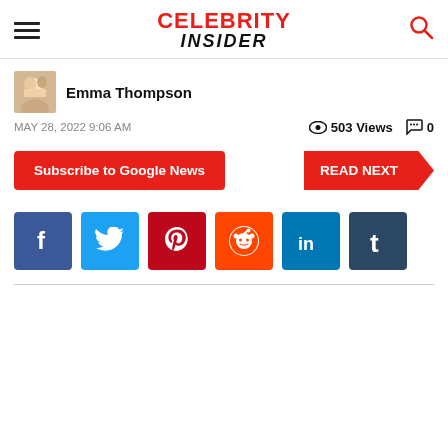Celebrity Insider
Emma Thompson
MAY 28, 2022 9:06 AM   503 Views   0
Subscribe to Google News | READ NEXT
[Figure (other): Social media share buttons: Facebook, Twitter, Pinterest, Reddit, LinkedIn, Tumblr]